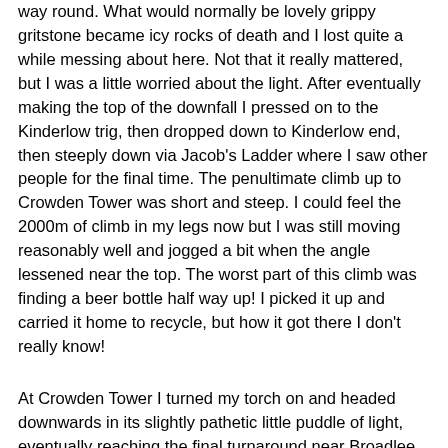way round. What would normally be lovely grippy gritstone became icy rocks of death and I lost quite a while messing about here. Not that it really mattered, but I was a little worried about the light. After eventually making the top of the downfall I pressed on to the Kinderlow trig, then dropped down to Kinderlow end, then steeply down via Jacob's Ladder where I saw other people for the final time. The penultimate climb up to Crowden Tower was short and steep. I could feel the 2000m of climb in my legs now but I was still moving reasonably well and jogged a bit when the angle lessened near the top. The worst part of this climb was finding a beer bottle half way up! I picked it up and carried it home to recycle, but how it got there I don't really know!
At Crowden Tower I turned my torch on and headed downwards in its slightly pathetic little puddle of light, eventually reaching the final turnaround near Broadlee Bank Tor. The climb up Grindslow Knoll is mercifully short and after the steep first section not really too bad. I hit the top in about 7